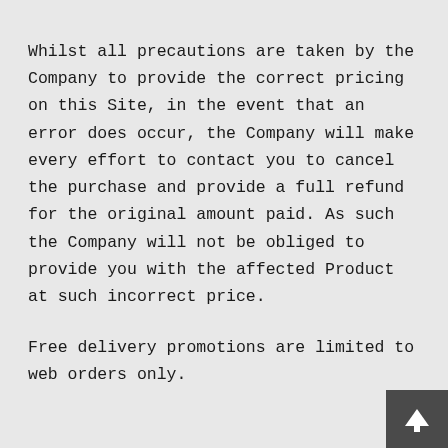Whilst all precautions are taken by the Company to provide the correct pricing on this Site, in the event that an error does occur, the Company will make every effort to contact you to cancel the purchase and provide a full refund for the original amount paid. As such the Company will not be obliged to provide you with the affected Product at such incorrect price.
Free delivery promotions are limited to web orders only.